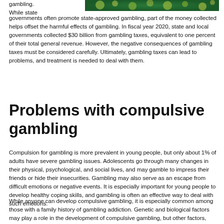[Figure (photo): Green bokeh background image with yellow and green blurred lights on a dark green background, appearing at the top right of the page.]
gambling. While state governments often promote state-approved gambling, part of the money collected helps offset the harmful effects of gambling. In fiscal year 2020, state and local governments collected $30 billion from gambling taxes, equivalent to one percent of their total general revenue. However, the negative consequences of gambling taxes must be considered carefully. Ultimately, gambling taxes can lead to problems, and treatment is needed to deal with them.
Problems with compulsive gambling
Compulsion for gambling is more prevalent in young people, but only about 1% of adults have severe gambling issues. Adolescents go through many changes in their physical, psychological, and social lives, and may gamble to impress their friends or hide their insecurities. Gambling may also serve as an escape from difficult emotions or negative events. It is especially important for young people to develop healthy coping skills, and gambling is often an effective way to deal with such emotions.
While anyone can develop compulsive gambling, it is especially common among those with a family history of gambling addiction. Genetic and biological factors may play a role in the development of compulsive gambling, but other factors, including personality traits, can also play a role. Patients with compulsive gambling often have co-occurring mental illnesses.